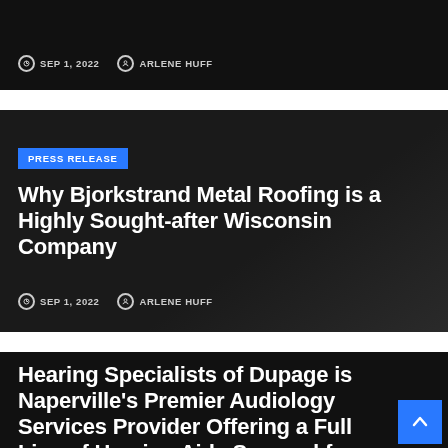[Figure (screenshot): Top dark card (partially visible) showing date SEP 1, 2022 and author ARLENE HUFF meta row on dark background]
[Figure (screenshot): Middle dark card with PRESS RELEASE badge, title 'Why Bjorkstrand Metal Roofing is a Highly Sought-after Wisconsin Company', date SEP 1, 2022, author ARLENE HUFF]
[Figure (screenshot): Bottom dark card (partially visible) showing title 'Hearing Specialists of Dupage is Naperville's Premier Audiology Services Provider Offering a Full Line of Hearing Aids Sourced from Top Manufacturers' with scroll-to-top blue button]